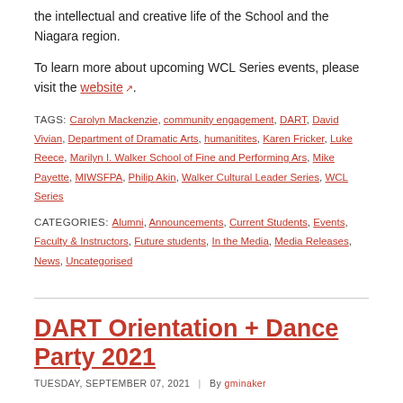the intellectual and creative life of the School and the Niagara region.
To learn more about upcoming WCL Series events, please visit the website.
TAGS: Carolyn Mackenzie, community engagement, DART, David Vivian, Department of Dramatic Arts, humanitites, Karen Fricker, Luke Reece, Marilyn I. Walker School of Fine and Performing Ars, Mike Payette, MIWSFPA, Philip Akin, Walker Cultural Leader Series, WCL Series
CATEGORIES: Alumni, Announcements, Current Students, Events, Faculty & Instructors, Future students, In the Media, Media Releases, News, Uncategorised
DART Orientation + Dance Party 2021
TUESDAY, SEPTEMBER 07, 2021 | By gminaker